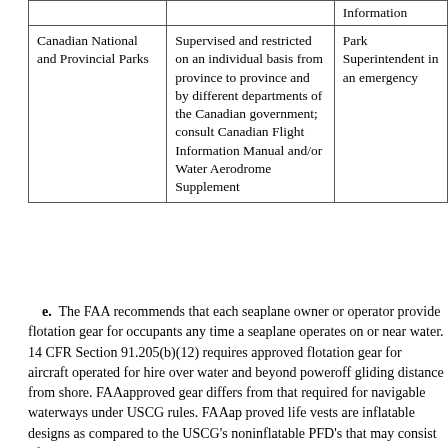|  |  | Information |
| --- | --- | --- |
| Canadian National and Provincial Parks | Supervised and restricted on an individual basis from province to province and by different departments of the Canadian government; consult Canadian Flight Information Manual and/or Water Aerodrome Supplement | Park Superintendent in an emergency |
e. The FAA recommends that each seaplane owner or operator provide flotation gear for occupants any time a seaplane operates on or near water. 14 CFR Section 91.205(b)(12) requires approved flotation gear for aircraft operated for hire over water and beyond poweroff gliding distance from shore. FAAapproved gear differs from that required for navigable waterways under USCG rules. FAAap proved life vests are inflatable designs as compared to the USCG's noninflatable PFD's that may consist of solid, bulky material. Such USCG PFDs are